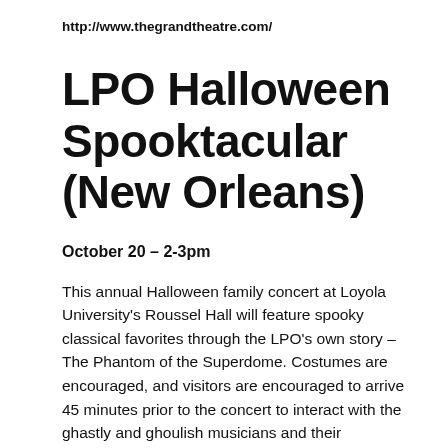http://www.thegrandtheatre.com/
LPO Halloween Spooktacular (New Orleans)
October 20 – 2-3pm
This annual Halloween family concert at Loyola University's Roussel Hall will feature spooky classical favorites through the LPO's own story – The Phantom of the Superdome. Costumes are encouraged, and visitors are encouraged to arrive 45 minutes prior to the concert to interact with the ghastly and ghoulish musicians and their instruments. Admission to LPO Family Concerts is FREE for children